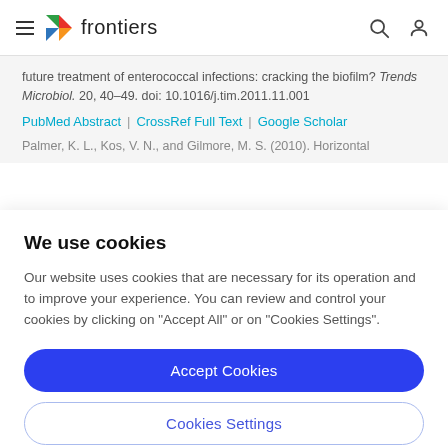frontiers
future treatment of enterococcal infections: cracking the biofilm? Trends Microbiol. 20, 40–49. doi: 10.1016/j.tim.2011.11.001
PubMed Abstract | CrossRef Full Text | Google Scholar
Palmer, K. L., Kos, V. N., and Gilmore, M. S. (2010). Horizontal
We use cookies
Our website uses cookies that are necessary for its operation and to improve your experience. You can review and control your cookies by clicking on "Accept All" or on "Cookies Settings".
Accept Cookies
Cookies Settings